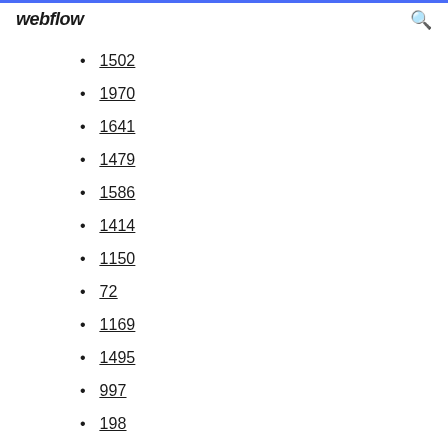webflow
1502
1970
1641
1479
1586
1414
1150
72
1169
1495
997
198